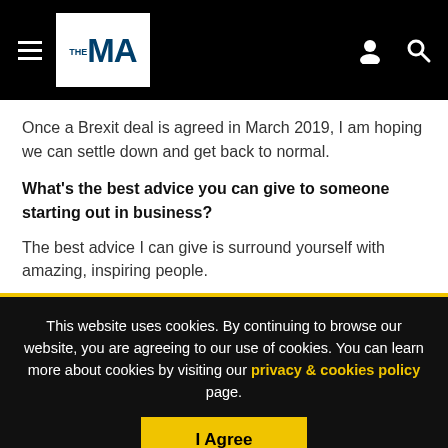THE MA — navigation bar with hamburger menu, logo, person icon, search icon
Once a Brexit deal is agreed in March 2019, I am hoping we can settle down and get back to normal.
What's the best advice you can give to someone starting out in business?
The best advice I can give is surround yourself with amazing, inspiring people.
This website uses cookies. By continuing to browse our website, you are agreeing to our use of cookies. You can learn more about cookies by visiting our privacy & cookies policy page.